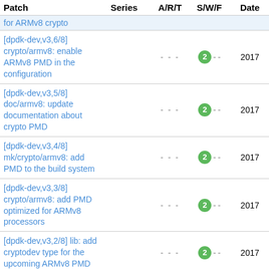| Patch | Series | A/R/T | S/W/F | Date |
| --- | --- | --- | --- | --- |
| for ARMv8 crypto |  |  |  |  |
| [dpdk-dev,v3,6/8] crypto/armv8: enable ARMv8 PMD in the configuration |  | - - - | 2 - - | 2017 |
| [dpdk-dev,v3,5/8] doc/armv8: update documentation about crypto PMD |  | - - - | 2 - - | 2017 |
| [dpdk-dev,v3,4/8] mk/crypto/armv8: add PMD to the build system |  | - - - | 2 - - | 2017 |
| [dpdk-dev,v3,3/8] crypto/armv8: add PMD optimized for ARMv8 processors |  | - - - | 2 - - | 2017 |
| [dpdk-dev,v3,2/8] lib: add cryptodev type for the upcoming ARMv8 PMD |  | - - - | 2 - - | 2017 |